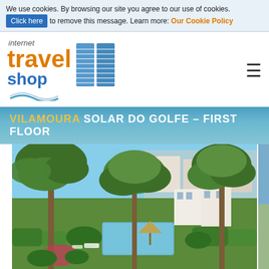We use cookies. By browsing our site you agree to our use of cookies. Click here to remove this message. Learn more: Our Cookie Policy
[Figure (logo): Internet Travel Shop logo with orange 'travel' text, blue 'shop' text, blue shutter/window icon, and wave graphic]
VILAMOURA SOLAR DO GOLFE - FIRST FLOOR
[Figure (photo): Outdoor garden and pool area with large Mediterranean pine trees, manicured hedges, a swimming pool with gazebo, and white residential buildings in the background under a blue sky]